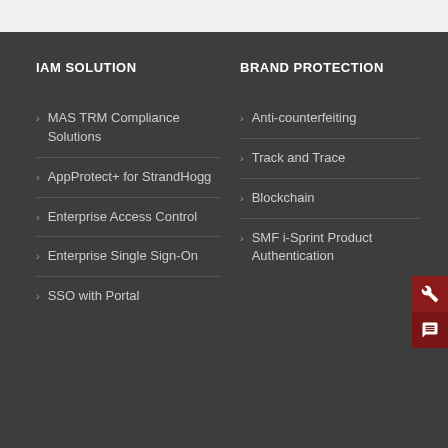IAM SOLUTION
MAS TRM Compliance Solutions
AppProtect+ for StrandHogg
Enterprise Access Control
Enterprise Single Sign-On
SSO with Portal
BRAND PROTECTION
Anti-counterfeiting
Track and Trace
Blockchain
SMF i-Sprint Product Authentication